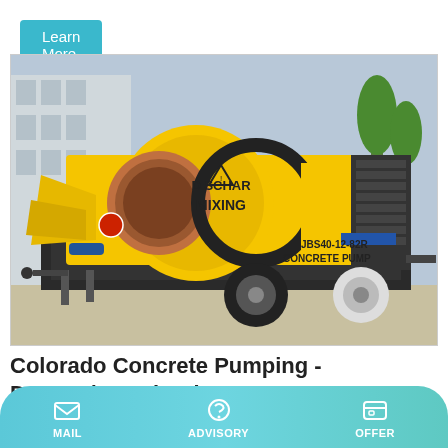Learn More
[Figure (photo): Yellow concrete pump machine (JBS40-12-82R Concrete Pump) with mixer drum and trailer, parked outdoors. Labels on the machine read DISCHAR, MIXING, JBS40-12-82R, CONCRETE PUMP.]
Colorado Concrete Pumping - Domov | Facebook
Colorado Concrete Pumping 508 Páži...
MAIL   ADVISORY   OFFER